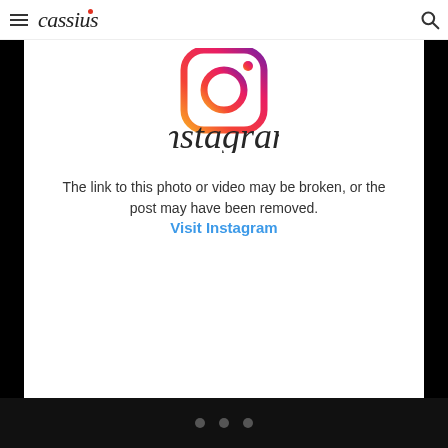cassius
[Figure (logo): Instagram logo icon with gradient colors (orange/yellow/red/purple) and the Instagram wordmark in script font]
The link to this photo or video may be broken, or the post may have been removed.
Visit Instagram
• • •